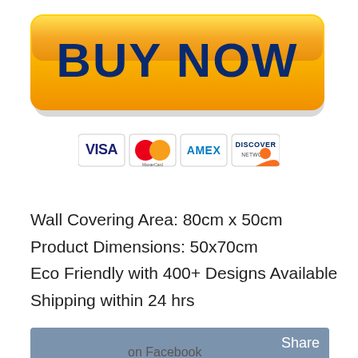[Figure (other): Yellow 'BUY NOW' button with gradient background (gold/orange), rounded corners, dark blue bold text]
[Figure (other): Row of four payment method logos: VISA (blue text on white), MasterCard (red/orange overlapping circles), AMEX (blue text on white), DISCOVER NETWORK (orange/white)]
Wall Covering Area: 80cm x 50cm
Product Dimensions: 50x70cm
Eco Friendly with 400+ Designs Available
Shipping within 24 hrs
[Figure (other): Blue-grey Facebook share bar with 'Share' text and 'on Facebook' text]